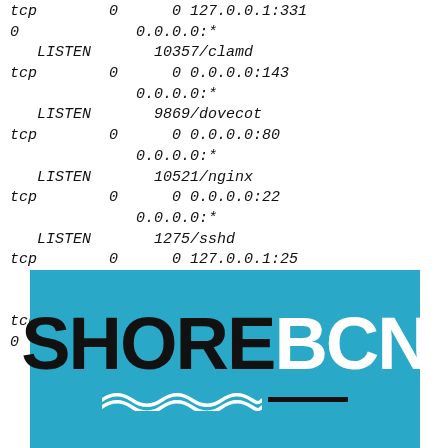tcp 0 0 127.0.0.1:331
0 0.0.0.0:*
   LISTEN 10357/clamd
tcp 0 0 0.0.0.0:143
 0.0.0.0:*
   LISTEN 9869/dovecot
tcp 0 0 0.0.0.0:80
 0.0.0.0:*
   LISTEN 10521/nginx
tcp 0 0 0.0.0.0:22
 0.0.0.0:*
   LISTEN 1275/sshd
tcp 0 0 127.0.0.1:25
 0.0.0.0:*
   LISTEN 9816/master
tcp 0 0 127.0.0.1:9000
0 0.0.0.0:*
   LISTEN 10695/php-fpm.conf)
[Figure (logo): SHOREBCN logo on a blue background with wave decoration and a black underline bar]